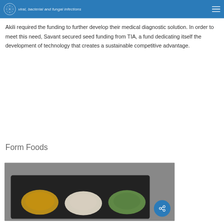viral, bacterial and fungal infections
Akili required the funding to further develop their medical diagnostic solution. In order to meet this need, Savant secured seed funding from TIA, a fund dedicating itself the development of technology that creates a sustainable competitive advantage.
Form Foods
[Figure (photo): Photo of colorful noodles/pasta on a dark plate/tray, partially visible at bottom of page]